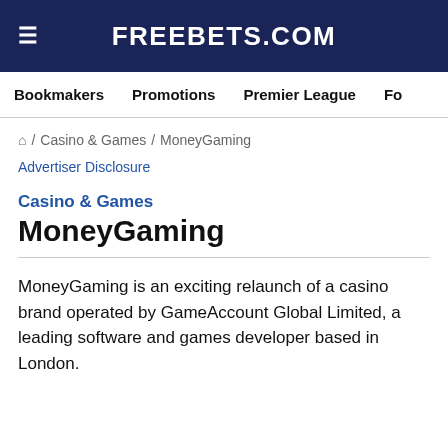FREEBETS.COM
Bookmakers   Promotions   Premier League   Fo
🏠 / Casino & Games / MoneyGaming
Advertiser Disclosure
Casino & Games
MoneyGaming
MoneyGaming is an exciting relaunch of a casino brand operated by GameAccount Global Limited, a leading software and games developer based in London.